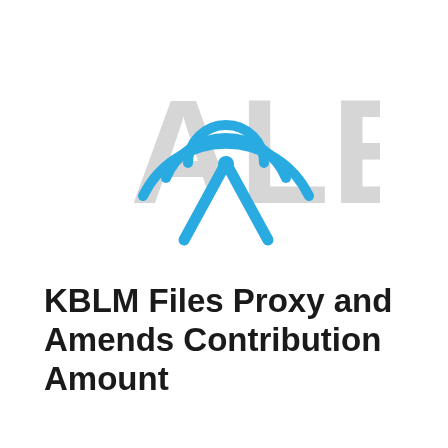[Figure (logo): Broadcast alert logo: concentric blue arc waves above an antenna/triangle shape, with large light grey 'ALERT' text watermark behind it]
KBLM Files Proxy and Amends Contribution Amount
© MAY 20, 2019   INTEL BY KRISTI MARVIN
KBL Merger Corp. IV (KBLM), filed a definitive proxy this morning for their upcoming shareholder vote to extend their